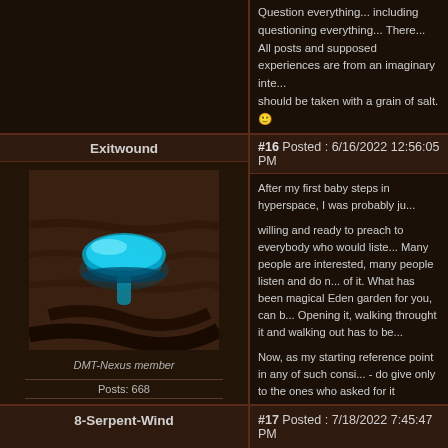Question everything... including questioning everything... There... All posts and supposed experiences are from an imaginary inte... should be taken with a grain of salt. 🙂
Exitwound
#16 Posted : 6/16/2022 12:56:05 PM
[Figure (photo): Profile avatar photo showing a blue glowing mushroom or similar organism on dark wood]
DMT-Nexus member
Posts: 668
Joined: 24-Dec-2017
Last visit: 20-Aug-2022
After my first baby steps in hyperspace, I was probably ju...

willing and ready to preach to everybody who would liste... Many people are interested, many people listen and do n... of it. What has been magical Eden garden for you, can b... Opening it, walking throught it and walking out has to be...

Now, as my starting reference point in any of such consi... - do give only to the ones who asked for it themselves (b... so that person doesn't get "nudged" by me in their decisi... - do not think of entheogens as a magic cure-it-all ailme... many others it might feel like a curse and a burden

There are some close people around me who are sufferi... life for better with just a single mushroom trip But I woul... Solving your problems has to come with readiness to wo...
8-Serpent-Wind
#17 Posted : 7/18/2022 7:45:47 PM